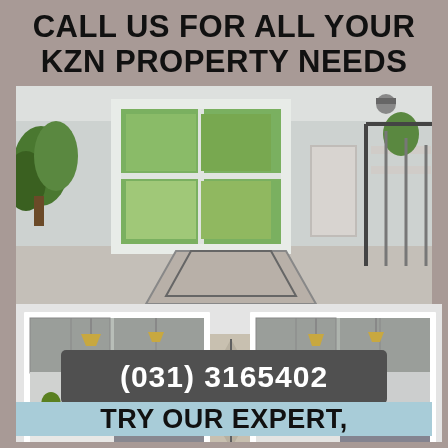CALL US FOR ALL YOUR KZN PROPERTY NEEDS
[Figure (photo): Interior living room photo with large window overlooking greenery, white walls, gray carpet, staircase railing on right, plants on left]
[Figure (photo): Two kitchen interior photos side by side showing gray cabinetry, white countertops, pendant lighting, and a geometric rug in the center]
(031) 3165402
TRY OUR EXPERT,